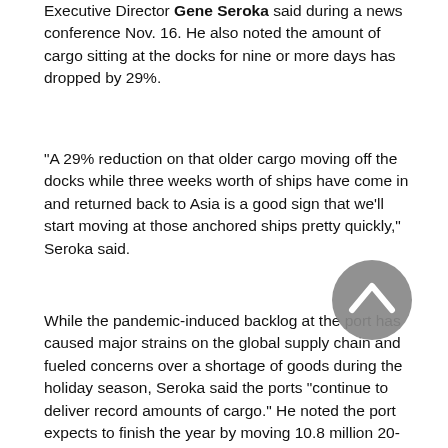Executive Director Gene Seroka said during a news conference Nov. 16. He also noted the amount of cargo sitting at the docks for nine or more days has dropped by 29%.
“A 29% reduction on that older cargo moving off the docks while three weeks worth of ships have come in and returned back to Asia is a good sign that we’ll start moving at those anchored ships pretty quickly,” Seroka said.
While the pandemic-induced backlog at the port has caused major strains on the global supply chain and fueled concerns over a shortage of goods during the holiday season, Seroka said the ports “continue to deliver record amounts of cargo.” He noted the port expects to finish the year by moving 10.8 million 20-foot equivalent units (TEUs) by the end of the year---a figure that will shatter the port’s previous record of 9.5 million in 2018.
Seroka was joined by Secretary of Transportation Pete Buttigieg, who highlighted the Biden administration’s $17 billion investment in the nation’s ports and waterways. For the Port of Los Angeles, this investment will fund more “back-end” projects that will